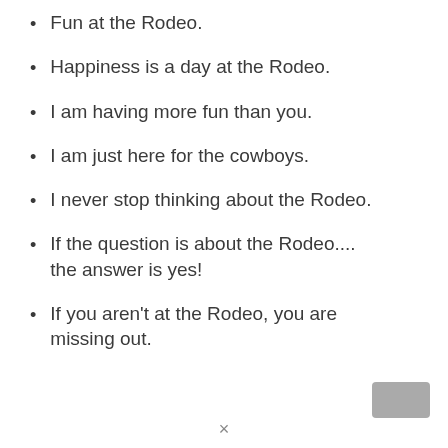Fun at the Rodeo.
Happiness is a day at the Rodeo.
I am having more fun than you.
I am just here for the cowboys.
I never stop thinking about the Rodeo.
If the question is about the Rodeo.... the answer is yes!
If you aren't at the Rodeo, you are missing out.